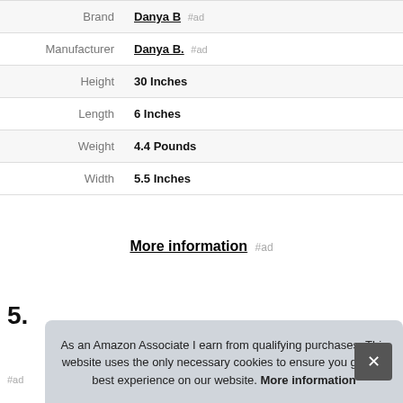| Brand | Danya B #ad |
| Manufacturer | Danya B. #ad |
| Height | 30 Inches |
| Length | 6 Inches |
| Weight | 4.4 Pounds |
| Width | 5.5 Inches |
More information #ad
5.
As an Amazon Associate I earn from qualifying purchases. This website uses the only necessary cookies to ensure you get the best experience on our website. More information
#ad